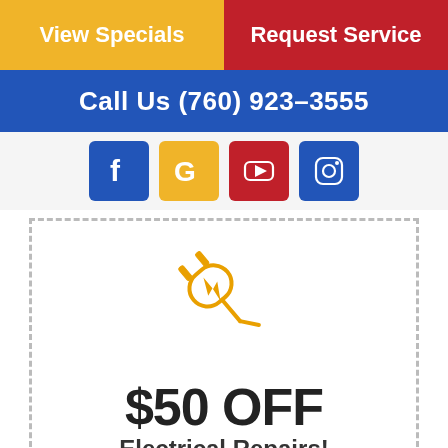View Specials
Request Service
Call Us (760) 923-3555
[Figure (infographic): Social media icons: Facebook (blue), Google (yellow), YouTube (red), Instagram (blue)]
[Figure (illustration): Electrical plug icon with lightning bolt in orange outline style]
$50 OFF
Electrical Repairs!